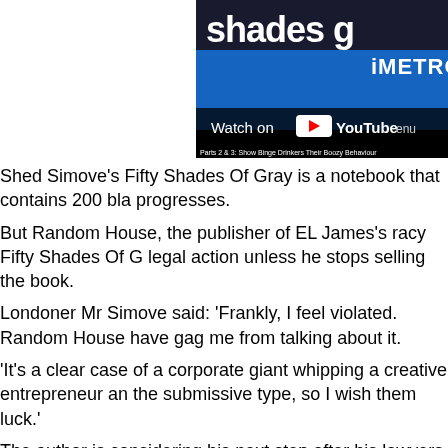[Figure (screenshot): A YouTube video thumbnail showing the title 'Shades G' with a Metro watermark and 'Watch on YouTube' overlay button. Caption at bottom reads 'Parts 2 & 3: Show Binge Drinkers Their Boozy Behaviour']
Shed Simove's Fifty Shades Of Gray is a notebook that contains 200 bla progresses.
But Random House, the publisher of EL James's racy Fifty Shades Of G legal action unless he stops selling the book.
Londoner Mr Simove said: ‘Frankly, I feel violated. Random House have gag me from talking about it.
‘It’s a clear case of a corporate giant whipping a creative entrepreneur an the submissive type, so I wish them luck.’
The author is considering his next step after his lawyers advised him tha
Mr Simove’s book follows the success of his earlier title What Every Man notebook of blank pages.
Random House did not return with a comment.
Meanwhile, James’s Fifty Shades, which is the bestselling book in British the top of the book charts this week by The Hairy Dieters, from TV chefs